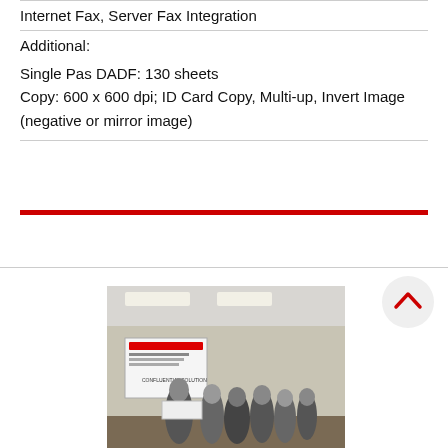Internet Fax, Server Fax Integration
Additional:
Single Pas DADF: 130 sheets
Copy: 600 x 600 dpi; ID Card Copy, Multi-up, Invert Image (negative or mirror image)
[Figure (photo): Group of people gathered around a product demonstration station with a whiteboard/banner in an office or conference room setting with fluorescent ceiling lights]
[Figure (other): Circular button with a red upward-pointing chevron/arrow icon on a light gray background]